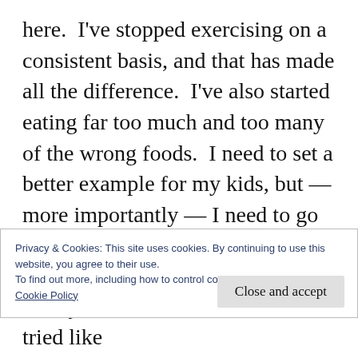here.  I've stopped exercising on a consistent basis, and that has made all the difference.  I've also started eating far too much and too many of the wrong foods.  I need to set a better example for my kids, but — more importantly — I need to go back to the level of care that I took of myself, for myself.  Somewhere in the mix of the last 3 months, I lost my healthy focus on me.  It's not about narcissism or being selfish or self centered.  It's about loving me first so that I have
Privacy & Cookies: This site uses cookies. By continuing to use this website, you agree to their use.
To find out more, including how to control cookies, see here:
Cookie Policy
Close and accept
Lately, I've been in a funk that I've tried like